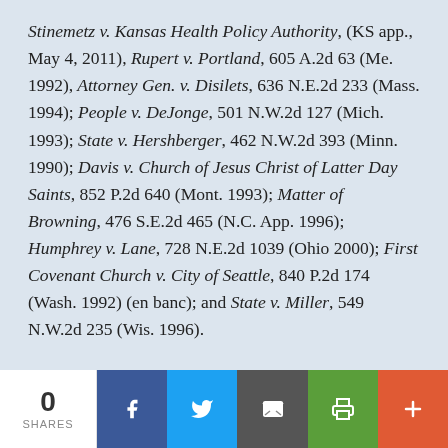Stinemetz v. Kansas Health Policy Authority, (KS app., May 4, 2011), Rupert v. Portland, 605 A.2d 63 (Me. 1992), Attorney Gen. v. Disilets, 636 N.E.2d 233 (Mass. 1994); People v. DeJonge, 501 N.W.2d 127 (Mich. 1993); State v. Hershberger, 462 N.W.2d 393 (Minn. 1990); Davis v. Church of Jesus Christ of Latter Day Saints, 852 P.2d 640 (Mont. 1993); Matter of Browning, 476 S.E.2d 465 (N.C. App. 1996); Humphrey v. Lane, 728 N.E.2d 1039 (Ohio 2000); First Covenant Church v. City of Seattle, 840 P.2d 174 (Wash. 1992) (en banc); and State v. Miller, 549 N.W.2d 235 (Wis. 1996).
0 SHARES | Facebook | Twitter | Email | Print | More